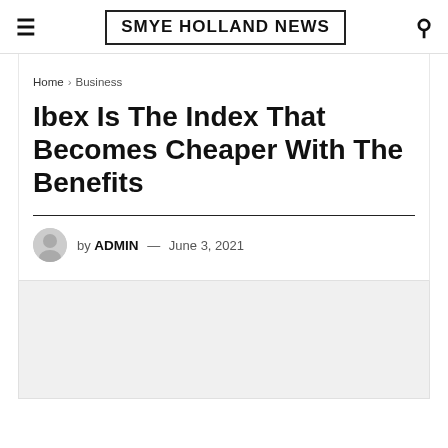SMYE HOLLAND NEWS
Home > Business
Ibex Is The Index That Becomes Cheaper With The Benefits
by ADMIN — June 3, 2021
[Figure (photo): Light grey image placeholder below the article header]